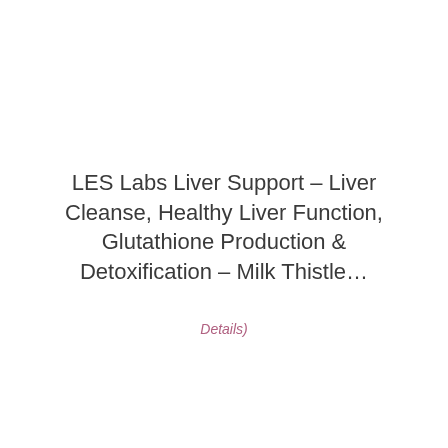LES Labs Liver Support – Liver Cleanse, Healthy Liver Function, Glutathione Production & Detoxification – Milk Thistle…
Details)